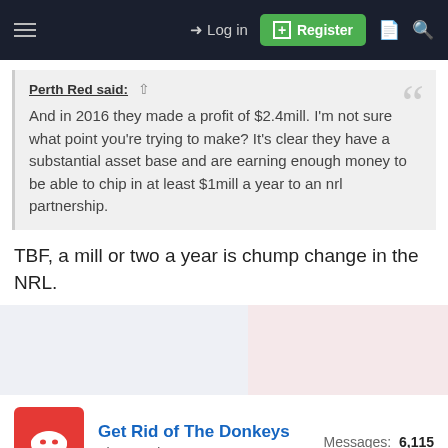Log in | Register
Perth Red said: ↑
And in 2016 they made a profit of $2.4mill. I'm not sure what point you're trying to make? It's clear they have a substantial asset base and are earning enough money to be able to chip in at least $1mill a year to an nrl partnership.
TBF, a mill or two a year is chump change in the NRL.
Get Rid of The Donkeys
First Grade
Messages: 6,115
May 18, 2022
#575